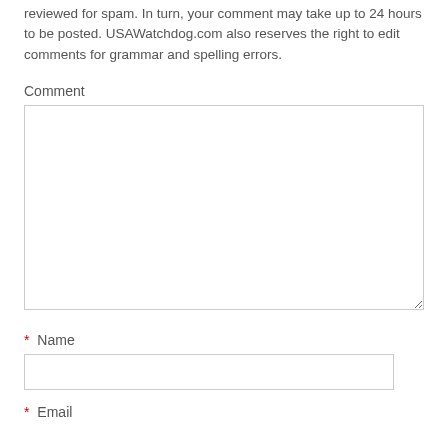reviewed for spam. In turn, your comment may take up to 24 hours to be posted. USAWatchdog.com also reserves the right to edit comments for grammar and spelling errors.
Comment
* Name
* Email